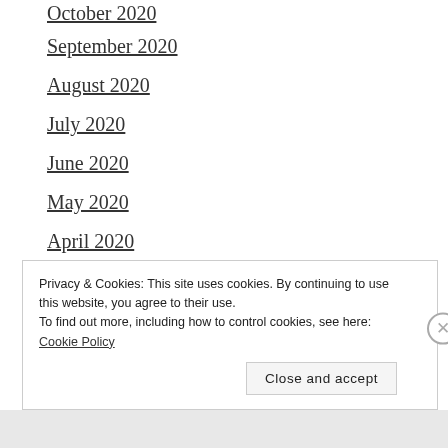October 2020
September 2020
August 2020
July 2020
June 2020
May 2020
April 2020
March 2020
February 2020
January 2020
Privacy & Cookies: This site uses cookies. By continuing to use this website, you agree to their use.
To find out more, including how to control cookies, see here: Cookie Policy
Close and accept